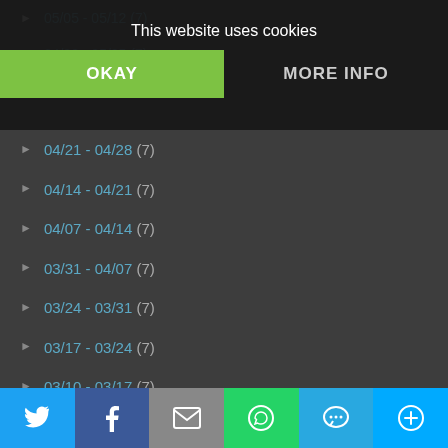This website uses cookies
OKAY
MORE INFO
► 04/21 - 04/28 (7)
► 04/14 - 04/21 (7)
► 04/07 - 04/14 (7)
► 03/31 - 04/07 (7)
► 03/24 - 03/31 (7)
► 03/17 - 03/24 (7)
► 03/10 - 03/17 (7)
► 03/03 - 03/10 (7)
► 02/24 - 03/03 (7)
▼ 02/17 - 02/24 (7)
A Deadly Divide by Ausma Zehanat Khan - a Review